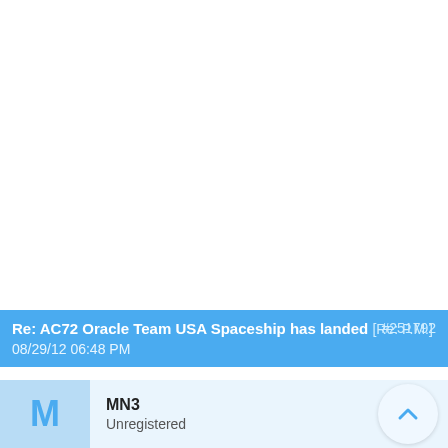Re: AC72 Oracle Team USA Spaceship has landed [Re: P.M.] #251792 08/29/12 06:48 PM
MN3 Unregistered